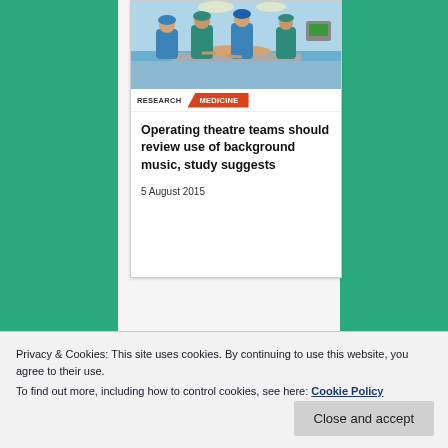[Figure (photo): Operating theatre with surgical team in blue and green scrubs working on a patient]
RESEARCH   MEDICINE
Operating theatre teams should review use of background music, study suggests
5 August 2015
The regulations can be simple with a view to preserving
Privacy & Cookies: This site uses cookies. By continuing to use this website, you agree to their use.
To find out more, including how to control cookies, see here: Cookie Policy